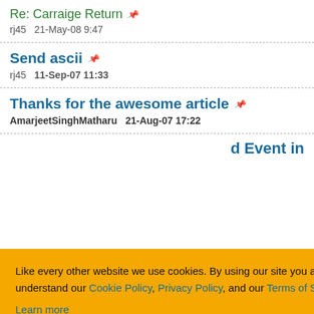Re: Carraige Return
rj45   21-May-08 9:47
Send ascii
rj45   11-Sep-07 11:33
Thanks for the awesome article
AmarjeetSinghMatharu   21-Aug-07 17:22
d Event in
[Figure (other): Cookie consent banner overlay with orange background. Text: 'Like every other website we use cookies. By using our site you acknowledge that you have read and understand our Cookie Policy, Privacy Policy, and our Terms of Service. Learn more'. Buttons: 'Ask me later', 'Decline', 'Allow cookies'.]
ceived Event
in binary file